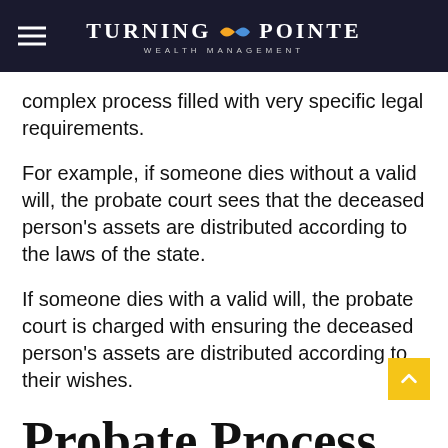Turning Pointe Wealth Management
complex process filled with very specific legal requirements.
For example, if someone dies without a valid will, the probate court sees that the deceased person’s assets are distributed according to the laws of the state.
If someone dies with a valid will, the probate court is charged with ensuring the deceased person’s assets are distributed according to their wishes.
Probate Process